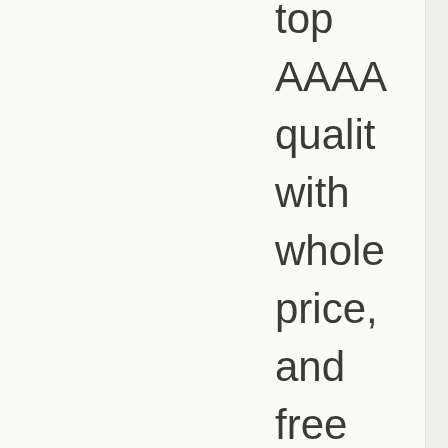top AAAA quality with whole price, and free shippi with adidas